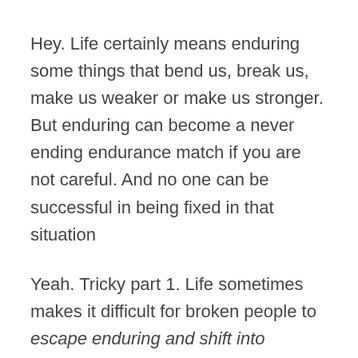Hey. Life certainly means enduring some things that bend us, break us, make us weaker or make us stronger. But enduring can become a never ending endurance match if you are not careful. And no one can be successful in being fixed in that situation
Yeah. Tricky part 1. Life sometimes makes it difficult for broken people to escape enduring and shift into enjoying.
–        Tricky part 2.